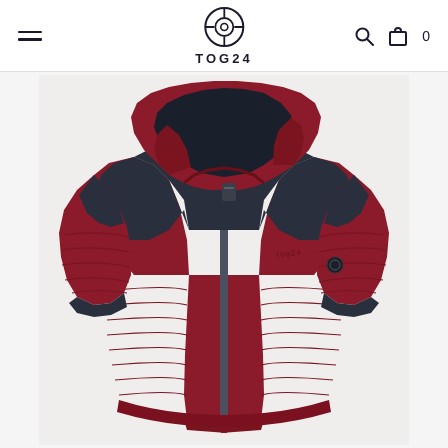TOG24
[Figure (photo): TOG24 children's or youth insulated jacket in dark red/burgundy with navy blue yoke panel across shoulders and chest. The jacket features a zip-up front, a large hood with dark grey lining, horizontal quilted stitching on the body, a small circular logo badge on the right sleeve, and a dark grey zip. Photographed on a white background.]